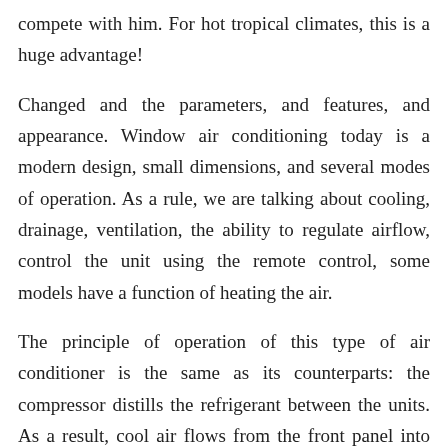compete with him. For hot tropical climates, this is a huge advantage!
Changed and the parameters, and features, and appearance. Window air conditioning today is a modern design, small dimensions, and several modes of operation. As a rule, we are talking about cooling, drainage, ventilation, the ability to regulate airflow, control the unit using the remote control, some models have a function of heating the air.
The principle of operation of this type of air conditioner is the same as its counterparts: the compressor distills the refrigerant between the units. As a result, cool air flows from the front panel into the room, and excess heat leaves the street. The power of window units is the same as